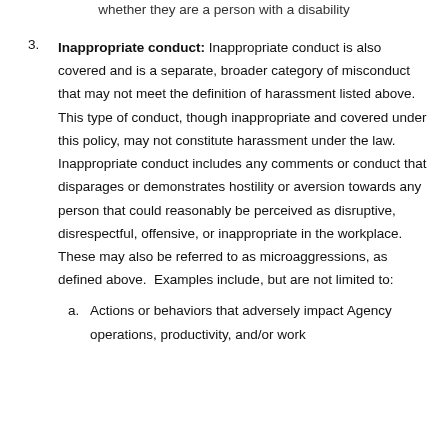whether they are a person with a disability
3. Inappropriate conduct: Inappropriate conduct is also covered and is a separate, broader category of misconduct that may not meet the definition of harassment listed above. This type of conduct, though inappropriate and covered under this policy, may not constitute harassment under the law. Inappropriate conduct includes any comments or conduct that disparages or demonstrates hostility or aversion towards any person that could reasonably be perceived as disruptive, disrespectful, offensive, or inappropriate in the workplace. These may also be referred to as microaggressions, as defined above. Examples include, but are not limited to:
a. Actions or behaviors that adversely impact Agency operations, productivity, and/or work